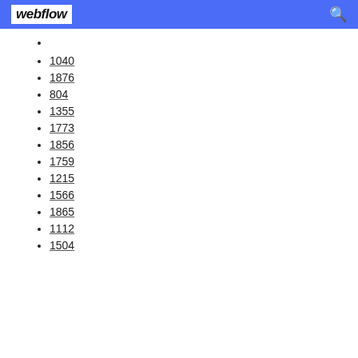webflow
1040
1876
804
1355
1773
1856
1759
1215
1566
1865
1112
1504